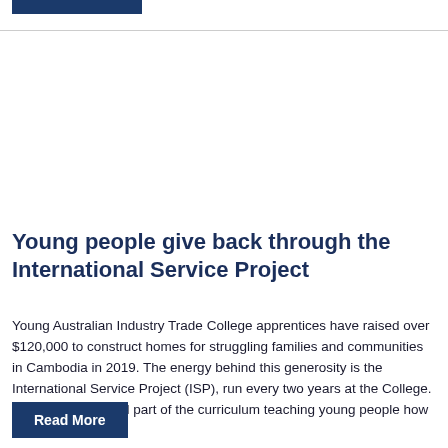Young people give back through the International Service Project
Young Australian Industry Trade College apprentices have raised over $120,000 to construct homes for struggling families and communities in Cambodia in 2019. The energy behind this generosity is the International Service Project (ISP), run every two years at the College. The ISP is a central part of the curriculum teaching young people how to give...
Read More